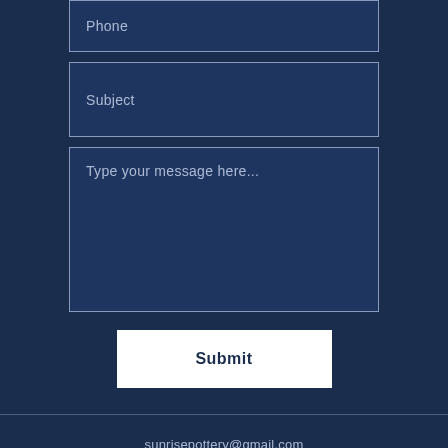Phone
Subject
Type your message here...
Submit
sunrisepottery@gmail.com
630-212-3099
Bull Shoals, AR 72619, USA